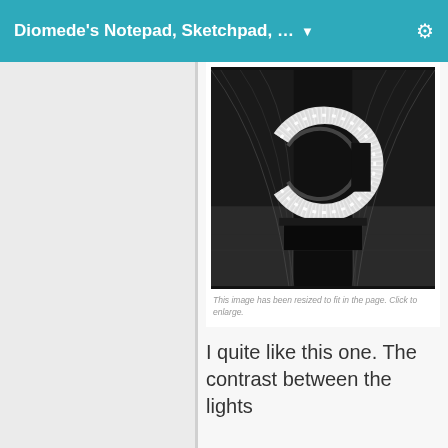Diomede's Notepad, Sketchpad, …
[Figure (photo): Black and white photograph of a sparkling crescent/C-shaped crystal or diamond bracelet/ring around a dark cylindrical object, with cables or wires in the background, dramatic contrast lighting.]
This image has been resized to fit in the page. Click to enlarge.
I quite like this one. The contrast between the lights